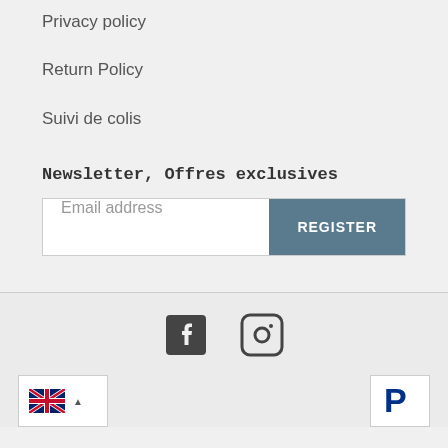Privacy policy
Return Policy
Suivi de colis
Newsletter, Offres exclusives
Email address
REGISTER
[Figure (other): Facebook and Instagram social media icons]
[Figure (other): UK flag language selector with dropdown caret]
[Figure (logo): PayPal payment logo]